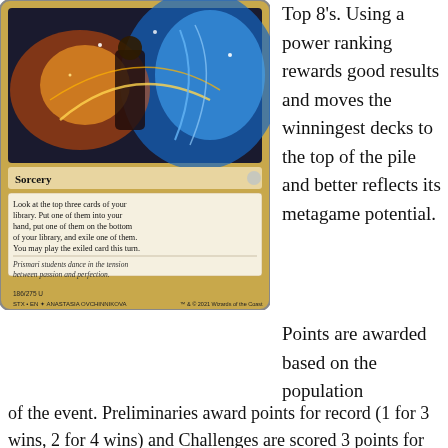[Figure (illustration): Magic: The Gathering card - a Sorcery card from Strixhaven (STX) set, numbered 186/275. Illustrated by Anastasia Ovchinnikova. Shows Prismari students dancing with magical energy. Card text: 'Look at the top three cards of your library. Put one of them into your hand, put one of them on the bottom of your library, and exile one of them. You may play the exiled card this turn.' Flavor text: 'Prismari students dance in the tension between passion and perfection.']
Top 8's. Using a power ranking rewards good results and moves the winningest decks to the top of the pile and better reflects its metagame potential.
Points are awarded based on the population of the event. Preliminaries award points for record (1 for 3 wins, 2 for 4 wins) and Challenges are scored 3 points for Top 8, 2 for Top 16, 1 for Top 32. If I can find them, non-Wizards events will be awarded points according to how similar they are to Challenges or Preliminaries. Super Qualifiers and similar level events get an extra point if